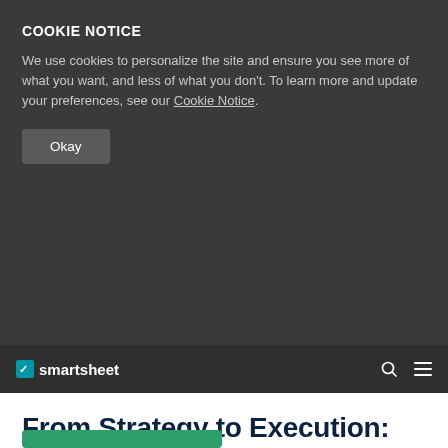COOKIE NOTICE
We use cookies to personalize the site and ensure you see more of what you want, and less of what you don't. To learn more and update your preferences, see our Cookie Notice.
Okay
smartsheet
From Strategy to Execution: How to Create a Sustainable, Repeatable Implementation Plan
Smartsheet Contributor Kate Eby
December 14, 2017